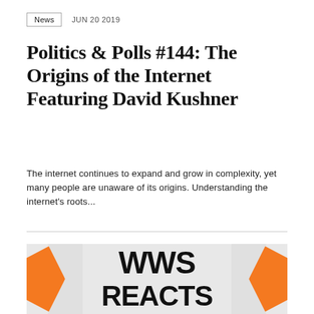News  JUN 20 2019
Politics & Polls #144: The Origins of the Internet Featuring David Kushner
The internet continues to expand and grow in complexity, yet many people are unaware of its origins. Understanding the internet's roots...
[Figure (logo): WWS REACTS logo — large bold black text 'WWS REACTS' on a light grey/white background with orange angular graphic elements on the sides]